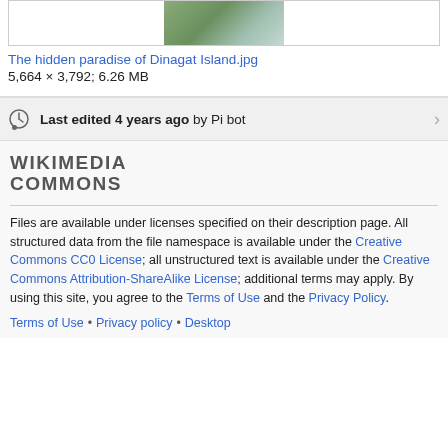[Figure (photo): Partial view of a nature/landscape photo thumbnail at top of page]
The hidden paradise of Dinagat Island.jpg
5,664 × 3,792; 6.26 MB
Last edited 4 years ago by Pi bot
WIKIMEDIA COMMONS
Files are available under licenses specified on their description page. All structured data from the file namespace is available under the Creative Commons CC0 License; all unstructured text is available under the Creative Commons Attribution-ShareAlike License; additional terms may apply. By using this site, you agree to the Terms of Use and the Privacy Policy.
Terms of Use • Privacy policy • Desktop